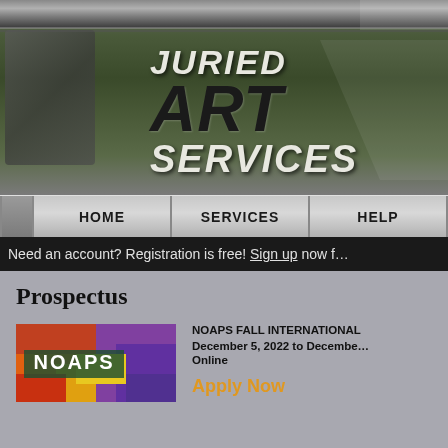[Figure (logo): Juried Art Services logo on dark olive/grey gradient banner background with decorative parallelogram shapes]
HOME | SERVICES | HELP
Need an account? Registration is free! Sign up now f…
Prospectus
[Figure (photo): NOAPS banner image showing colorful abstract painting with text 'NOAPS' overlaid]
NOAPS FALL INTERNATIONAL
December 5, 2022 to December...
Online
Apply Now